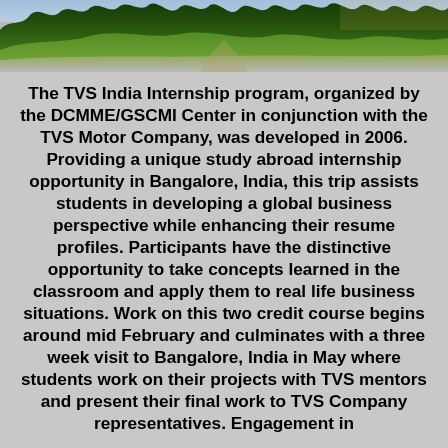[Figure (photo): Photograph of a park or garden with green trees lining a path, taken from a distance, serving as a decorative banner at the top of the page.]
The TVS India Internship program, organized by the DCMME/GSCMI Center in conjunction with the TVS Motor Company, was developed in 2006. Providing a unique study abroad internship opportunity in Bangalore, India, this trip assists students in developing a global business perspective while enhancing their resume profiles. Participants have the distinctive opportunity to take concepts learned in the classroom and apply them to real life business situations. Work on this two credit course begins around mid February and culminates with a three week visit to Bangalore, India in May where students work on their projects with TVS mentors and present their final work to TVS Company representatives. Engagement in